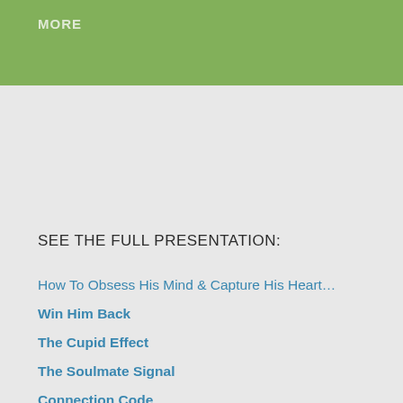MORE
SEE THE FULL PRESENTATION:
How To Obsess His Mind & Capture His Heart…
Win Him Back
The Cupid Effect
The Soulmate Signal
Connection Code
Forever Yours